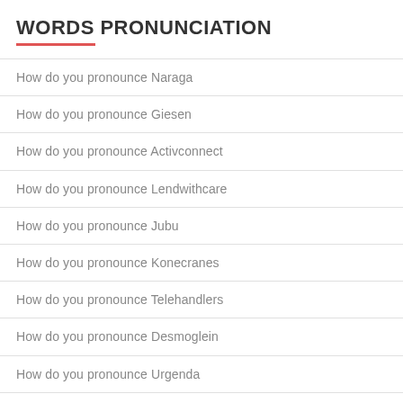WORDS PRONUNCIATION
How do you pronounce Naraga
How do you pronounce Giesen
How do you pronounce Activconnect
How do you pronounce Lendwithcare
How do you pronounce Jubu
How do you pronounce Konecranes
How do you pronounce Telehandlers
How do you pronounce Desmoglein
How do you pronounce Urgenda
How do you pronounce Medquest